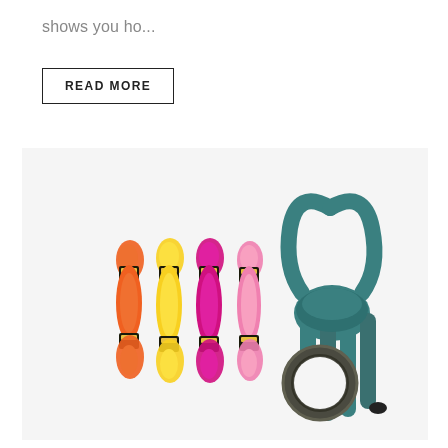shows you ho...
READ MORE
[Figure (photo): Craft supplies laid flat on a white background: four skeins of embroidery floss in orange, yellow, magenta/hot pink, and pink; a teal/dark cyan rope tied in a loop knot; and a small roll of dark tape or washi tape.]